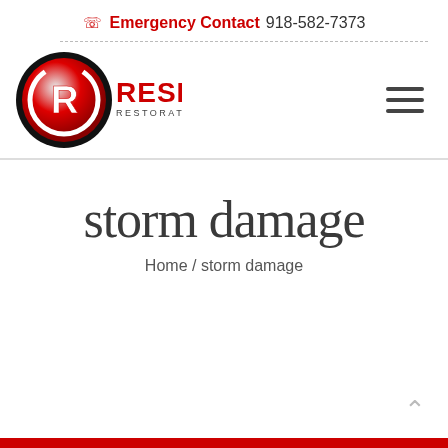Emergency Contact 918-582-7373
[Figure (logo): Reset Restoration Services logo — red circular badge with R icon and company name]
storm damage
Home / storm damage